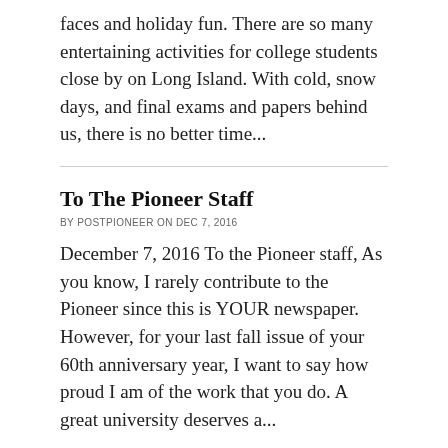faces and holiday fun. There are so many entertaining activities for college students close by on Long Island. With cold, snow days, and final exams and papers behind us, there is no better time...
To The Pioneer Staff
BY POSTPIONEER ON DEC 7, 2016
December 7, 2016 To the Pioneer staff, As you know, I rarely contribute to the Pioneer since this is YOUR newspaper. However, for your last fall issue of your 60th anniversary year, I want to say how proud I am of the work that you do. A great university deserves a...
Budget cuts threaten the future of the Pioneer Newspaper
BY POSTPIONEER ON DEC 7, 2016